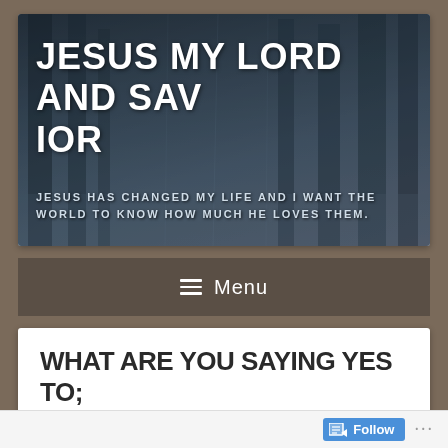[Figure (screenshot): Blog website header banner with forest/tree background image showing blog title 'JESUS MY LORD AND SAVIOR' and subtitle 'JESUS HAS CHANGED MY LIFE AND I WANT THE WORLD TO KNOW HOW MUCH HE LOVES THEM.']
JESUS MY LORD AND SAVIOR
JESUS HAS CHANGED MY LIFE AND I WANT THE WORLD TO KNOW HOW MUCH HE LOVES THEM.
≡  Menu
WHAT ARE YOU SAYING YES TO; JESUS OR THE WORLD?
Posted on February 8, 2018 by LorrieT
Follow